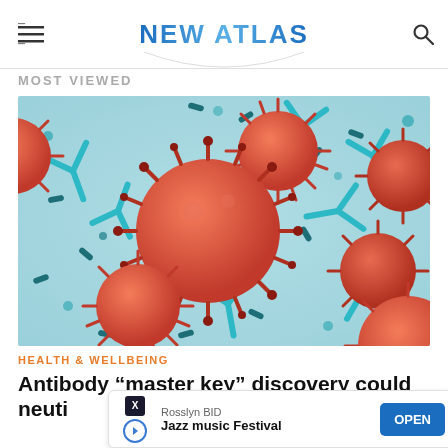NEW ATLAS
MOST VIEWED
[Figure (illustration): 3D medical illustration showing red coronavirus particles (spherical with spike proteins) and teal/green Y-shaped antibodies with capsule-shaped objects on a light blue background]
HEALTH & WELLBEING
Antibody “master key” discovery could neuti... Jazz music Festival
Rosslyn BID - OPEN